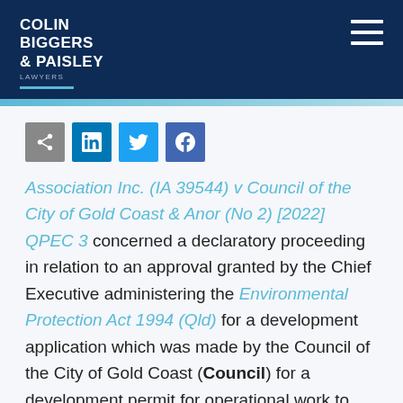Colin Biggers & Paisley Lawyers
[Figure (other): Social sharing icons: share, LinkedIn, Twitter, Facebook]
Association Inc. (IA 39544) v Council of the City of Gold Coast & Anor (No 2) [2022] QPEC 3 concerned a declaratory proceeding in relation to an approval granted by the Chief Executive administering the Environmental Protection Act 1994 (Qld) for a development application which was made by the Council of the City of Gold Coast (Council) for a development permit for operational work to construct a four metre wide and 16 kilometre long shared public-